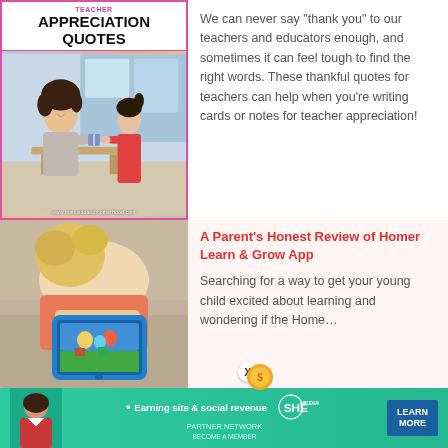[Figure (photo): Graphic with bold text 'APPRECIATION QUOTES' and a photo of a teacher and young girl exchanging a gift in a classroom, with pink decorative border. Watermark: www.mimosasandmotherhood.com]
We can never say “thank you” to our teachers and educators enough, and sometimes it can feel tough to find the right words. These thankful quotes for teachers can help when you’re writing cards or notes for teacher appreciation!
[Figure (photo): Photo of a young child with blonde hair using a blue kids tablet with a colorful learning app displayed on screen]
A Parent’s Honest Review of Homer Learn & Grow App
Searching for a way to get your young child excited about learning and wondering if the Home…
[Figure (infographic): SHE Media advertisement banner with teal background, woman photo, text 'Earning site & social revenue', SHE PARTNER NETWORK logo, BECOME A MEMBER text, and LEARN MORE button]